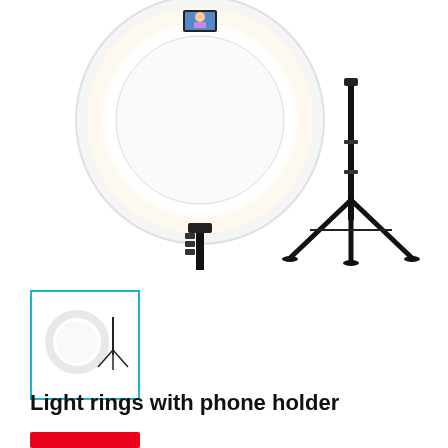[Figure (photo): Product photo showing a ring light with a phone holder mounted on a tripod stand. The ring light has a white LED ring and a phone clamp at the top center. Separately on the right side is a black tripod stand. Background is white.]
[Figure (photo): Small thumbnail image showing the ring light product, bordered by a cyan/teal rectangle outline indicating it is selected.]
Light rings with phone holder